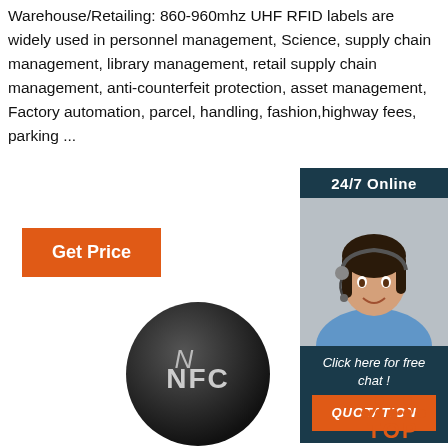Warehouse/Retailing: 860-960mhz UHF RFID labels are widely used in personnel management, Science, supply chain management, library management, retail supply chain management, anti-counterfeit protection, asset management, Factory automation, parcel, handling, fashion,highway fees, parking ...
[Figure (photo): Orange 'Get Price' button]
[Figure (photo): 24/7 online chat widget with woman in headset, 'Click here for free chat!' text, and orange QUOTATION button]
[Figure (photo): Black NFC coin/disc with NFC logo]
[Figure (logo): TOP logo with orange dots arranged in triangle above the word TOP in orange]